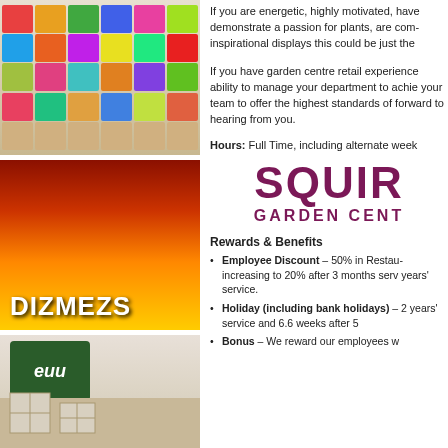[Figure (photo): Colorful flower/plant seed packet display shelf unit with multiple rows of packaged products]
[Figure (photo): Fire/flame image with bold white text 'DIZMEZS' overlaid]
[Figure (photo): Garden centre building exterior with euu logo sign and bench with cushions]
If you are energetic, highly motivated, have demonstrate a passion for plants, are com inspirational displays this could be just the
If you have garden centre retail experience ability to manage your department to achie your team to offer the highest standards o forward to hearing from you.
Hours: Full Time, including alternate week
[Figure (logo): Squire's Garden Centres logo — large purple/maroon text 'SQUIR' with 'GARDEN CENT' below in purple bold]
Rewards & Benefits
Employee Discount – 50% in Restau increasing to 20% after 3 months serv years' service.
Holiday (including bank holidays) – 2 years' service and 6.6 weeks after 5
Bonus – We reward our employees w